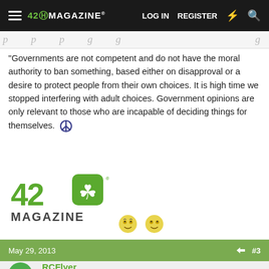420 MAGAZINE | LOG IN | REGISTER
"Governments are not competent and do not have the moral authority to ban something, based either on disapproval or a desire to protect people from their own choices. It is high time we stopped interfering with adult choices. Government opinions are only relevant to those who are incapable of deciding things for themselves. ☮
[Figure (logo): 420 Magazine logo with cannabis leaf]
May 29, 2013  #3
RCFlyer
New Member